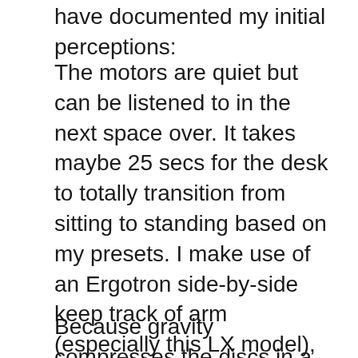have documented my initial perceptions:
The motors are quiet but can be listened to in the next space over. It takes maybe 25 secs for the desk to totally transition from sitting to standing based on my presets. I make use of an Ergotron side-by-side keep track of arm (especially this LX model), creating the desk to get a little rough when I shift my weight versus the key-board. In hindsight, I should have purchased the bar upgrade for my workdesk after establishing the weight of my screens. If you intend to do a dual screen configuration, get the crossbar.
Because gravity compresses the discs in a human back, I need to raise the desk higher in the early morning as well as lower it at